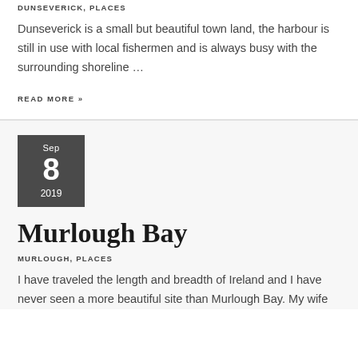DUNSEVERICK, PLACES
Dunseverick is a small but beautiful town land, the harbour is still in use with local fishermen and is always busy with the surrounding shoreline …
READ MORE »
Sep 8 2019
Murlough Bay
MURLOUGH, PLACES
I have traveled the length and breadth of Ireland and I have never seen a more beautiful site than Murlough Bay. My wife